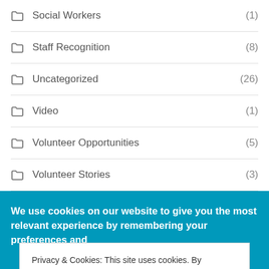Social Workers (1)
Staff Recognition (8)
Uncategorized (26)
Video (1)
Volunteer Opportunities (5)
Volunteer Stories (3)
We use cookies on our website to give you the most relevant experience by remembering your preferences and
Privacy & Cookies: This site uses cookies. By continuing to use this website, you agree to their use.
To find out more, including how to control cookies, see here: Cookie Policy
Close and accept